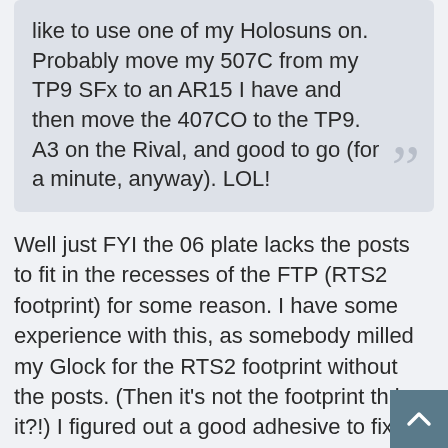like to use one of my Holosuns on. Probably move my 507C from my TP9 SFx to an AR15 I have and then move the 407CO to the TP9. A3 on the Rival, and good to go (for a minute, anyway). LOL!
Well just FYI the 06 plate lacks the posts to fit in the recesses of the FTP (RTS2 footprint) for some reason. I have some experience with this, as somebody milled my Glock for the RTS2 footprint without the posts. (Then it's not the footprint th is it?!) I figured out a good adhesive to fix